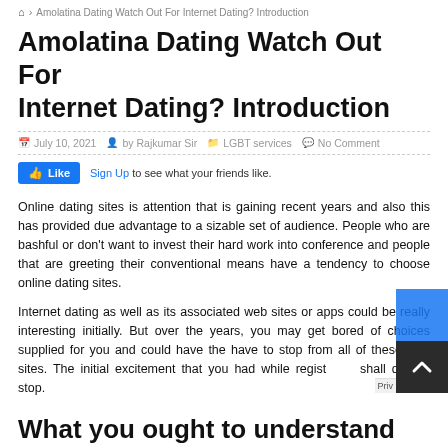🏠 › Amolatina Dating Watch Out For Internet Dating? Introduction
Amolatina Dating Watch Out For Internet Dating? Introduction
July 10, 2021   by Rajkumar Sir   LGBT services   No Comment
[Figure (other): Facebook Like button with Sign Up link: Sign Up to see what your friends like.]
Online dating sites is attention that is gaining recent years and also this has provided due advantage to a sizable set of audience. People who are bashful or don't want to invest their hard work into conference and people that are greeting their conventional means have a tendency to choose online dating sites.
Internet dating as well as its associated web sites or apps could be really interesting initially. But over the years, you may get bored of choices supplied for you and could have the have to stop from all of these web sites. The initial excitement that you had while registering shall quickly stop.
What you ought to understand